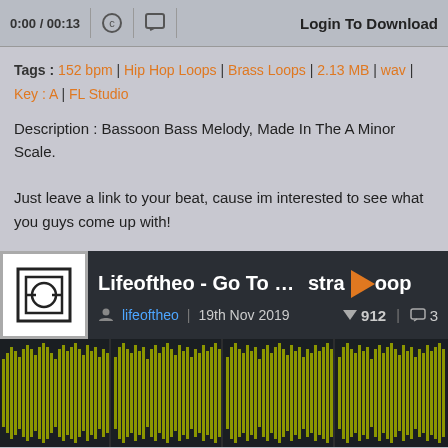0:00 / 00:13  Login To Download
Tags : 152 bpm | Hip Hop Loops | Brass Loops | 2.13 MB | wav | Key : A | FL Studio
Description : Bassoon Bass Melody, Made In The A Minor Scale.

Just leave a link to your beat, cause im interested to see what you guys come up with!
[Figure (screenshot): Lifeoftheo - Go To War Orchestra Loop track card with waveform, logo, author lifeoftheo, date 19th Nov 2019, votes 912, comments 3]
0:00 / 00:25  Login To Download
Tags : 152 bpm | Trap Loops | Brass Loops | 4.25 MB | wav | Key :